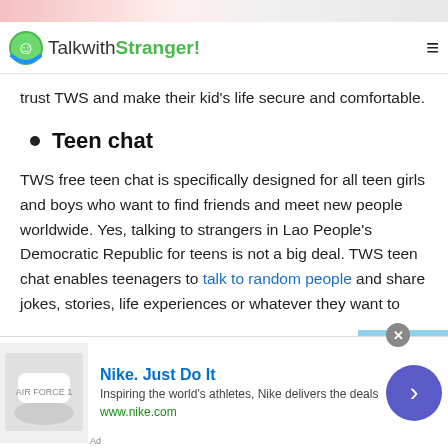TalkwithStranger!
trust TWS and make their kid's life secure and comfortable.
Teen chat
TWS free teen chat is specifically designed for all teen girls and boys who want to find friends and meet new people worldwide. Yes, talking to strangers in Lao People's Democratic Republic for teens is not a big deal. TWS teen chat enables teenagers to talk to random people and share jokes, stories, life experiences or whatever they want to
[Figure (other): Scroll-to-top button overlay with upward arrow on light blue background]
[Figure (other): Nike advertisement banner with shoe image, Nike Just Do It tagline, description and www.nike.com URL, with close button and arrow navigation]